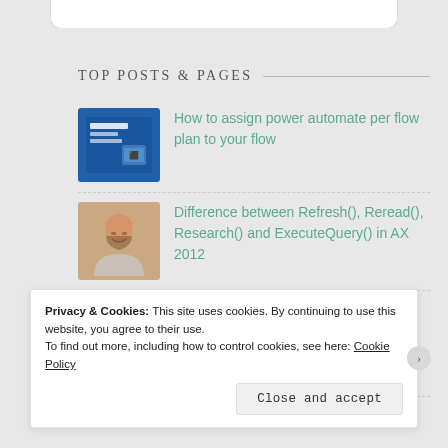TOP POSTS & PAGES
How to assign power automate per flow plan to your flow
Difference between Refresh(), Reread(), Research() and ExecuteQuery() in AX 2012
Solution: Data Entity synchronization errors in #Dyn365FO
Privacy & Cookies: This site uses cookies. By continuing to use this website, you agree to their use.
To find out more, including how to control cookies, see here: Cookie Policy
Close and accept